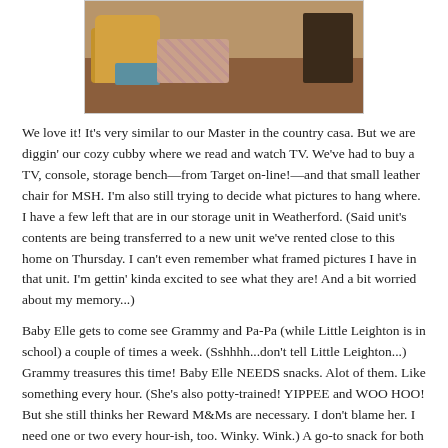[Figure (photo): Interior room photo showing a yellow armchair, plaid ottoman, dark wood dresser/cabinet, and blue rug on a hardwood floor]
We love it! It's very similar to our Master in the country casa. But we are diggin' our cozy cubby where we read and watch TV. We've had to buy a TV, console, storage bench—from Target on-line!—and that small leather chair for MSH. I'm also still trying to decide what pictures to hang where. I have a few left that are in our storage unit in Weatherford. (Said unit's contents are being transferred to a new unit we've rented close to this home on Thursday. I can't even remember what framed pictures I have in that unit. I'm gettin' kinda excited to see what they are! And a bit worried about my memory...)
Baby Elle gets to come see Grammy and Pa-Pa (while Little Leighton is in school) a couple of times a week. (Sshhhh...don't tell Little Leighton...) Grammy treasures this time! Baby Elle NEEDS snacks. Alot of them. Like something every hour. (She's also potty-trained! YIPPEE and WOO HOO! But she still thinks her Reward M&Ms are necessary. I don't blame her. I need one or two every hour-ish, too. Winky. Wink.) A go-to snack for both Baby Elle and Little Leighton is pretzels. Gluten-free, of course. Snyder's? Delish. Trader Joe's? Delish. Aldi's? DELISH. Glutino's? Yep—also delish. I adore how Baby Elle shyly asks for these delightful little treats: